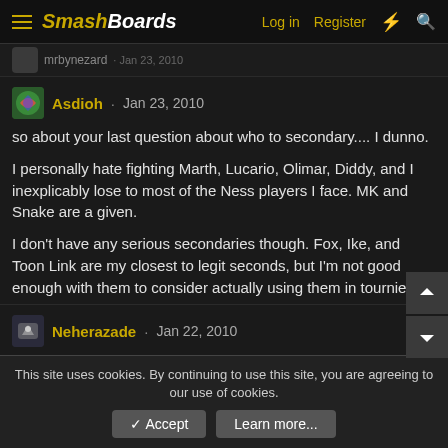SmashBoards · Log in · Register
Asdioh · Jan 23, 2010
so about your last question about who to secondary.... I dunno.

I personally hate fighting Marth, Lucario, Olimar, Diddy, and I inexplicably lose to most of the Ness players I face. MK and Snake are a given.

I don't have any serious secondaries though. Fox, Ike, and Toon Link are my closest to legit seconds, but I'm not good enough with them to consider actually using them in tournies.
Neherazade · Jan 22, 2010
Crap. About 5 minutes after I posted that, thinking I could play... my dad commandeered the basement (Wii) TV. I'll probly be free tomorrow evening... sorry for the confusion.
This site uses cookies. By continuing to use this site, you are agreeing to our use of cookies.